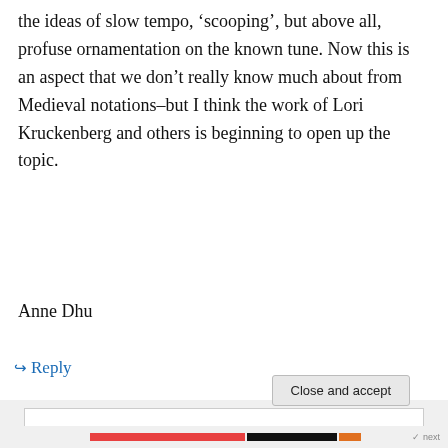the ideas of slow tempo, 'scooping', but above all, profuse ornamentation on the known tune. Now this is an aspect that we don't really know much about from Medieval notations–but I think the work of Lori Kruckenberg and others is beginning to open up the topic.
Anne Dhu
↳ Reply
Privacy & Cookies: This site uses cookies. By continuing to use this website, you agree to their use. To find out more, including how to control cookies, see here: Cookie Policy
Close and accept